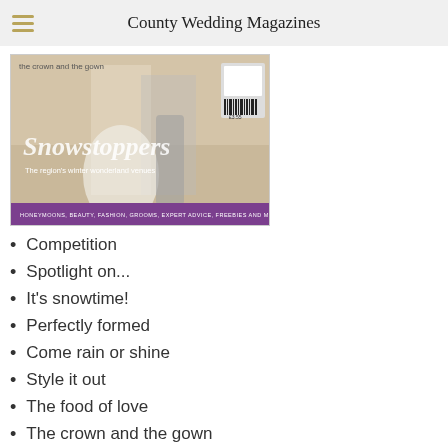County Wedding Magazines
[Figure (illustration): Magazine cover for County Wedding Magazines Nov/Dec 2020 issue. Shows two people in wedding attire on a sandy/earthy background. Title reads 'Snowstoppers' in script font. Subheading: 'The region's winter wonderland venues'. Purple banner at bottom: 'HONEYMOONS, BEAUTY, FASHION, GROOMS, EXPERT ADVICE, FREEBIES AND MORE'. Price £3.55. Top-left text: 'the crown and the gown'.]
Competition
Spotlight on...
It's snowtime!
Perfectly formed
Come rain or shine
Style it out
The food of love
The crown and the gown
Available: 6 November 2020
Read Nov/Dec 2020 issue now